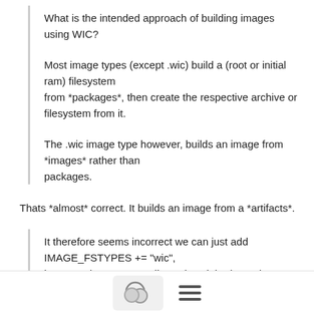What is the intended approach of building images using WIC?
Most image types (except .wic) build a (root or initial ram) filesystem from *packages*, then create the respective archive or filesystem from it.
The .wic image type however, builds an image from *images* rather than packages.
Thats *almost* correct. It builds an image from a *artifacts*.
It therefore seems incorrect we can just add IMAGE_FSTYPES += "wic", because the corresponding .wks might depend on multiple other images than